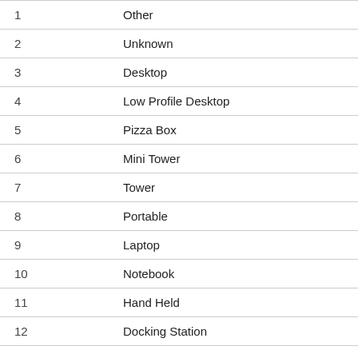|  |  |
| --- | --- |
| 1 | Other |
| 2 | Unknown |
| 3 | Desktop |
| 4 | Low Profile Desktop |
| 5 | Pizza Box |
| 6 | Mini Tower |
| 7 | Tower |
| 8 | Portable |
| 9 | Laptop |
| 10 | Notebook |
| 11 | Hand Held |
| 12 | Docking Station |